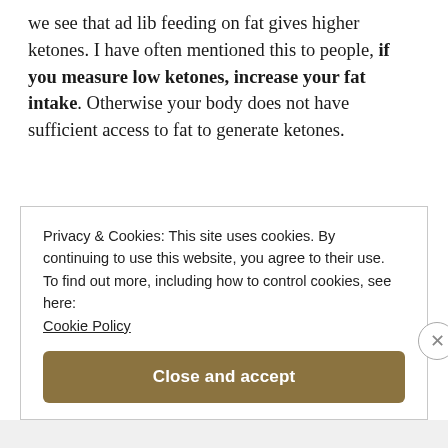we see that ad lib feeding on fat gives higher ketones. I have often mentioned this to people, if you measure low ketones, increase your fat intake. Otherwise your body does not have sufficient access to fat to generate ketones.
Privacy & Cookies: This site uses cookies. By continuing to use this website, you agree to their use. To find out more, including how to control cookies, see here: Cookie Policy
Close and accept